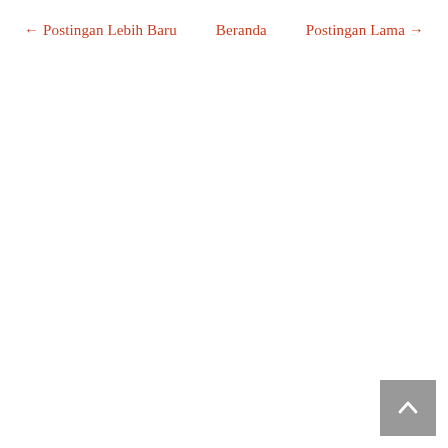← Postingan Lebih Baru   Beranda   Postingan Lama →
[Figure (other): Back to top button with upward chevron arrow icon, gray square button in bottom-right corner]